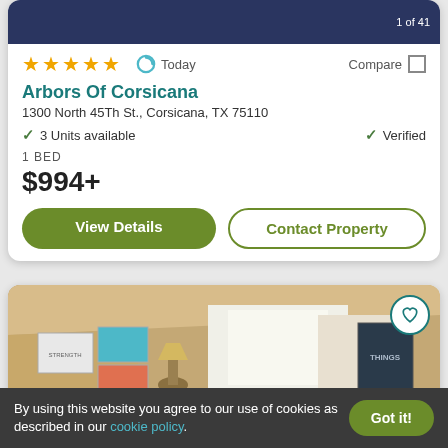[Figure (photo): Top portion of apartment listing photo showing decorative blue/navy rug pattern]
★★★★★
Today
Compare
Arbors Of Corsicana
1300 North 45Th St., Corsicana, TX 75110
✓ 3 Units available
✓ Verified
1 BED
$994+
View Details
Contact Property
[Figure (photo): Interior room photo showing wall art, a lamp and an open door. Warm beige/gold tones.]
By using this website you agree to our use of cookies as described in our cookie policy.
Got it!